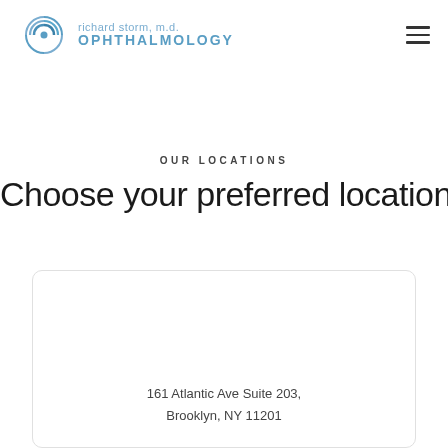[Figure (logo): Richard Storm M.D. Ophthalmology logo with blue eye swirl graphic and text]
OUR LOCATIONS
Choose your preferred location
161 Atlantic Ave Suite 203, Brooklyn, NY 11201